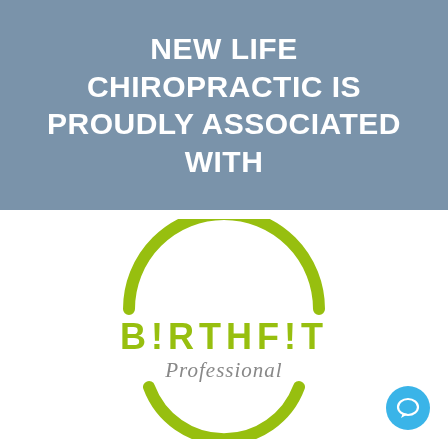NEW LIFE CHIROPRACTIC IS PROUDLY ASSOCIATED WITH
[Figure (logo): BIRTHFIT Professional logo: a green circle arc (open at bottom) above the text BIRTHFIT in green bold letters with exclamation marks as the I characters, and 'Professional' in gray italic below, with a smaller green arc below the text completing the circle shape.]